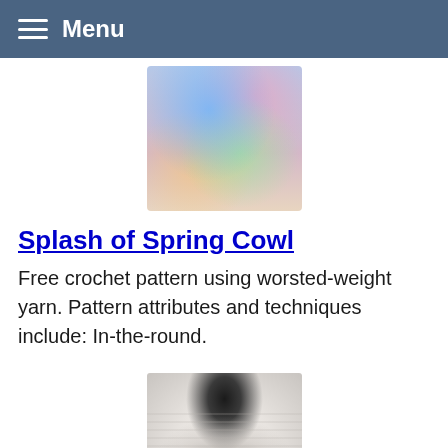Menu
[Figure (photo): Photo of a colorful multicolor crochet cowl scarf worn around a person's neck, showing bright blue, green, yellow, and pink yarn colors.]
Splash of Spring Cowl
Free crochet pattern using worsted-weight yarn. Pattern attributes and techniques include: In-the-round.
[Figure (photo): Photo of a woman seen from the back wearing a white short-sleeve top with a crocheted granny square vest in shades of gray and white.]